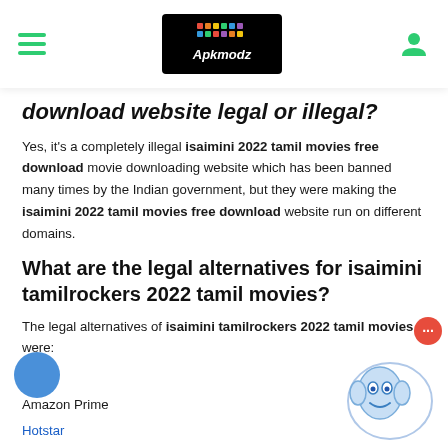Apkmodz logo, hamburger menu, user icon
download website legal or illegal?
Yes, it's a completely illegal isaimini 2022 tamil movies free download movie downloading website which has been banned many times by the Indian government, but they were making the isaimini 2022 tamil movies free download website run on different domains.
What are the legal alternatives for isaimini tamilrockers 2022 tamil movies?
The legal alternatives of isaimini tamilrockers 2022 tamil movies were:
Netflix
Amazon Prime
Hotstar
Voot
Sonyliv